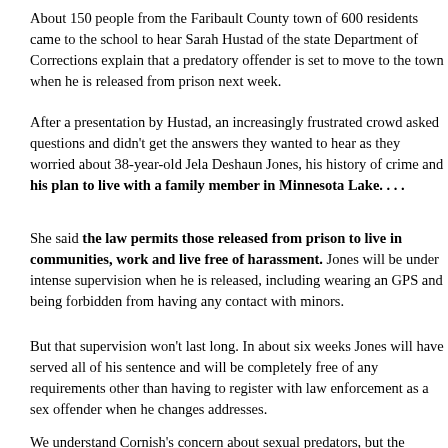About 150 people from the Faribault County town of 600 residents came to the school to hear Sarah Hustad of the state Department of Corrections explain that a predatory offender is set to move to the town when he is released from prison next week.
After a presentation by Hustad, an increasingly frustrated crowd asked questions and didn't get the answers they wanted to hear as they worried about 38-year-old Jela Deshaun Jones, his history of crime and his plan to live with a family member in Minnesota Lake. . . .
She said the law permits those released from prison to live in communities, work and live free of harassment. Jones will be under intense supervision when he is released, including wearing an GPS and being forbidden from having any contact with minors.
But that supervision won't last long. In about six weeks Jones will have served all of his sentence and will be completely free of any requirements other than having to register with law enforcement as a sex offender when he changes addresses.
We understand Cornish's concern about sexual predators, but the "racially soliloquy" makes us join Representative Dehn in saying "Wow" as well.
Jones was living in Le Sueur, Minnesota, when he was arrested at age 23 of sexually assaulting two sisters with whom he was acquainted. The younger fifteen and Jones used alcohol to get her to "agree" to have sex with him; the other was seventeen when he crawled into her bed while she was sleeping and more.
He was convicted and served his time, but didn't do so well with earlier releases, reported:
He got out in 2010 but was sent back to prison four times since for...